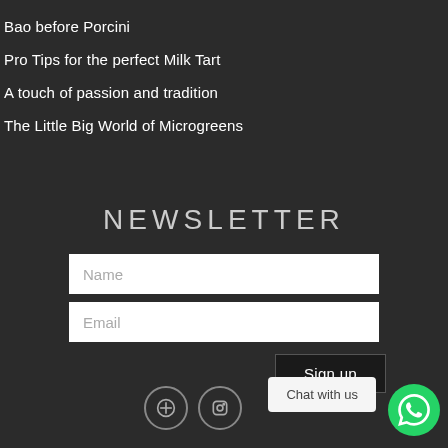Bao before Porcini
Pro Tips for the perfect Milk Tart
A touch of passion and tradition
The Little Big World of Microgreens
NEWSLETTER
Name (input field placeholder)
Email (input field placeholder)
Sign up
Chat with us
[Figure (other): Social media icons: Facebook and Instagram circles, plus WhatsApp green circle button]